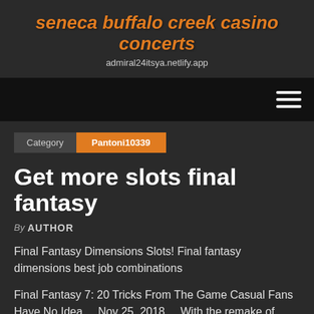seneca buffalo creek casino concerts
admiral24itsya.netlify.app
Navigation bar with hamburger menu
Category | Pantoni10339
Get more slots final fantasy
By AUTHOR
Final Fantasy Dimensions Slots! Final fantasy dimensions best job combinations
Final Fantasy 7: 20 Tricks From The Game Casual Fans Have No Idea ... Nov 25, 2018 ... With the remake of Final